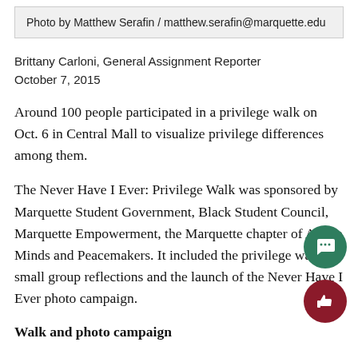Photo by Matthew Serafin / matthew.serafin@marquette.edu
Brittany Carloni, General Assignment Reporter
October 7, 2015
Around 100 people participated in a privilege walk on Oct. 6 in Central Mall to visualize privilege differences among them.
The Never Have I Ever: Privilege Walk was sponsored by Marquette Student Government, Black Student Council, Marquette Empowerment, the Marquette chapter of Active Minds and Peacemakers. It included the privilege walk, small group reflections and the launch of the Never Have I Ever photo campaign.
Walk and photo campaign
The walk began with participants holding hands a...